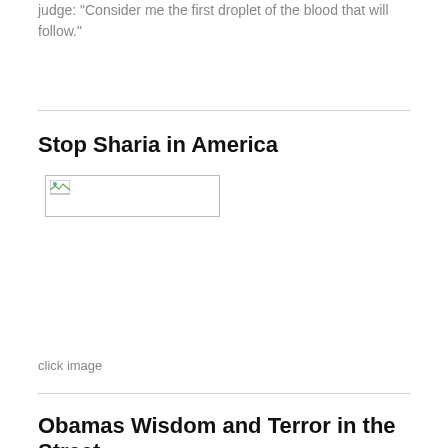judge: "Consider me the first droplet of the blood that will follow."
Stop Sharia in America
[Figure (photo): Broken/unloaded image placeholder with small image icon in top-left corner]
click image
Obamas Wisdom and Terror in the Street